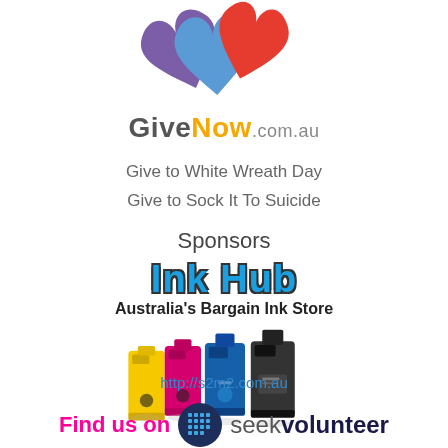[Figure (logo): GiveNow.com.au logo with colorful heart shapes (purple, blue, red) above the text GiveNow.com.au]
Give to White Wreath Day
Give to Sock It To Suicide
Sponsors
[Figure (logo): Ink Hub logo — bold blue text 'Ink Hub' with dark outline, subtitle 'Australia's Bargain Ink Store', and four ink cartridges (yellow, magenta, blue, black)]
http://s2m2.com.au
[Figure (logo): Seek Volunteer logo — dark blue circle with grid of dots, text 'Find us on' in pink and 'seekvolunteer' in dark navy]